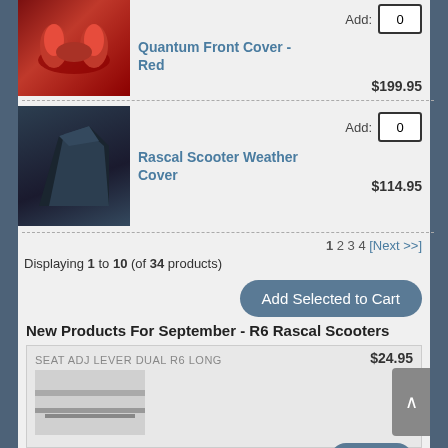[Figure (photo): Red glossy scooter front cover component]
Add: 0
Quantum Front Cover - Red
$199.95
[Figure (photo): Dark navy blue scooter weather cover]
Add: 0
Rascal Scooter Weather Cover
$114.95
1 2 3 4 [Next >>]
Displaying 1 to 10 (of 34 products)
Add Selected to Cart
New Products For September - R6 Rascal Scooters
SEAT ADJ LEVER DUAL R6 LONG
$24.95
[Figure (photo): Seat adjustment lever product image]
Details